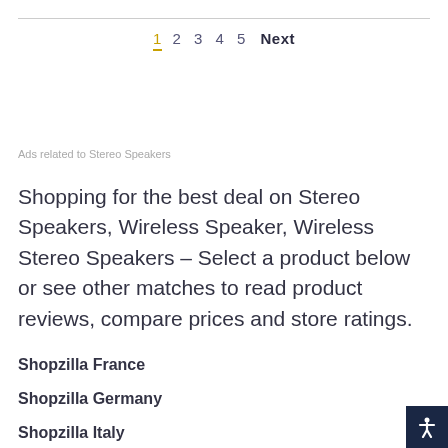1 2 3 4 5 Next
Ads related to Stereo Speakers
Shopping for the best deal on Stereo Speakers, Wireless Speaker, Wireless Stereo Speakers – Select a product below or see other matches to read product reviews, compare prices and store ratings.
Shopzilla France
Shopzilla Germany
Shopzilla Italy